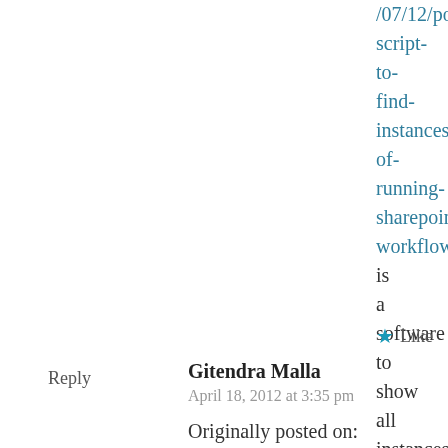/07/12/powershell-script-to-find-instances-of-running-sharepoint-workflow.aspx#608718Hi,there is a software to show all instances and associations at the farm level, HarePoint Workflow Monitor:http://www.harepoint.com/Products/HarePointWorkflowMonitor/Default.aspxWBR, Alexander
★ Like
Reply
Gitendra Malla
April 18, 2012 at 3:35 pm
Originally posted on: